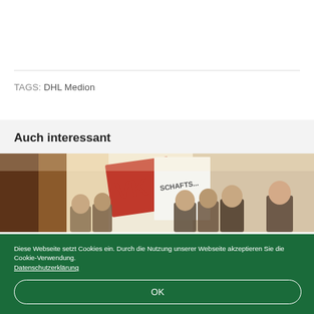TAGS: DHL Medion
Auch interessant
[Figure (photo): Group photo of several people standing in front of a banner with red and white logo text partially visible (VK/SCHAFTS...)]
Diese Webseite setzt Cookies ein. Durch die Nutzung unserer Webseite akzeptieren Sie die Cookie-Verwendung. Datenschutzerklärung
OK